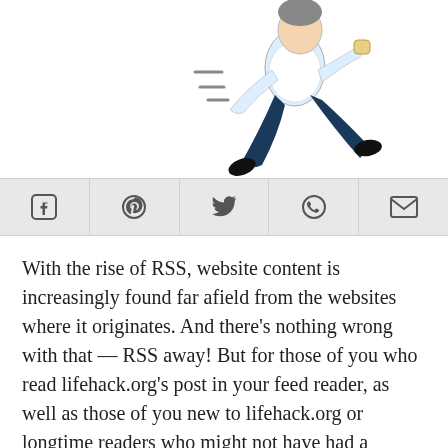[Figure (illustration): Cartoon illustration of a man running fast, wearing a white shirt and dark trousers, with motion lines indicating speed]
[Figure (infographic): Social share buttons bar with icons for Facebook, Pinterest, Twitter, WhatsApp, and Email]
With the rise of RSS, website content is increasingly found far afield from the websites where it originates. And there’s nothing wrong with that — RSS away! But for those of you who read lifehack.org’s post in your feed reader, as well as those of you new to lifehack.org or longtime readers who might not have had a chance to look around the site much, I thought I’d take a moment to